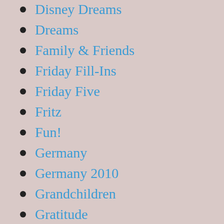Disney Dreams
Dreams
Family & Friends
Friday Fill-Ins
Friday Five
Fritz
Fun!
Germany
Germany 2010
Grandchildren
Gratitude
Greta
Greta's Puppies #2
Happiness
Heidi
Holidays
How To